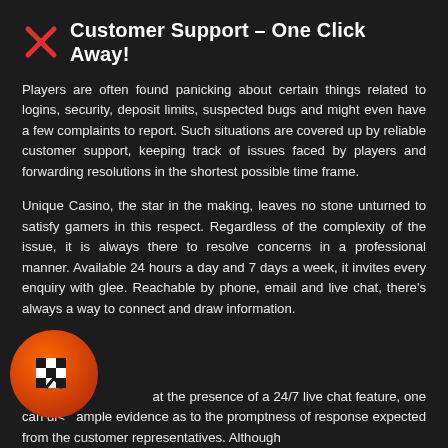Customer Support – One Click Away!
Players are often found panicking about certain things related to logins, security, deposit limits, suspected bugs and might even have a few complaints to report. Such situations are covered up by reliable customer support, keeping track of issues faced by players and forwarding resolutions in the shortest possible time frame.
Unique Casino, the star in the making, leaves no stone unturned to satisfy gamers in this respect. Regardless of the complexity of the issue, it is always there to resolve concerns in a professional manner. Available 24 hours a day and 7 days a week, it invites every enquiry with glee. Reachable by phone, email and live chat, there's always a way to connect and draw information.
at the presence of a 24/7 live chat feature, one can dle ample evidence as to the promptness of response expected from the customer representatives. Although